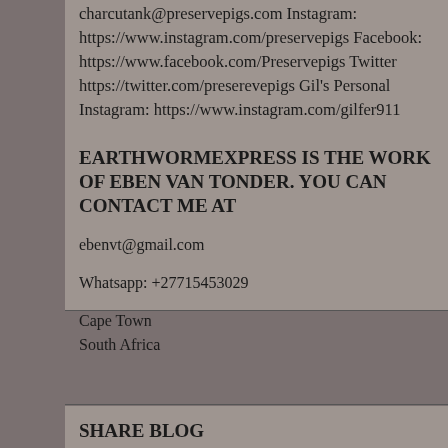charcutank@preservepigs.com Instagram: https://www.instagram.com/preservepigs Facebook: https://www.facebook.com/Preservepigs Twitter https://twitter.com/preserevepigs Gil's Personal Instagram: https://www.instagram.com/gilfer911
EARTHWORMEXPRESS IS THE WORK OF EBEN VAN TONDER. YOU CAN CONTACT ME AT
ebenvt@gmail.com
Whatsapp:  +27715453029
Cape Town
South Africa
SHARE BLOG